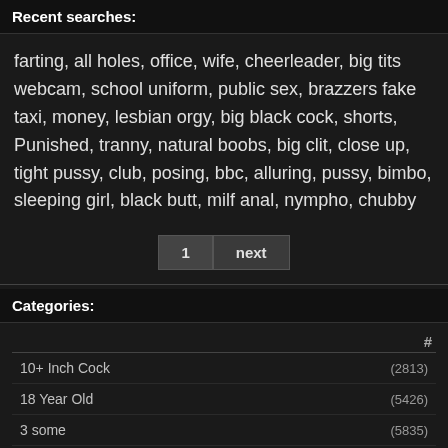Recent searches:
farting, all holes, office, wife, cheerleader, big tits webcam, school uniform, public sex, brazzers fake taxi, money, lesbian orgy, big black cock, shorts, Punished, tranny, natural boobs, big clit, close up, tight pussy, club, posing, bbc, alluring, pussy, bimbo, sleeping girl, black butt, milf anal, nympho, chubby
Categories:
|  | # |
| --- | --- |
| 10+ Inch Cock | (2813) |
| 18 Year Old | (5426) |
| 3 some | (5835) |
| 3D | (3044) |
| 4 some | (650) |
| 69 | (10079) |